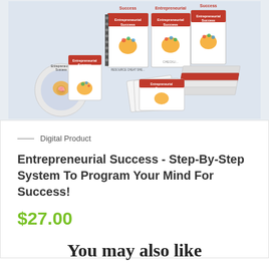[Figure (illustration): Product mockup showing multiple formats of 'Entrepreneurial Success' digital product: books, spiral-bound guides, CD, cheat sheet, checklist binder, and loose pages, on a light blue background.]
Digital Product
Entrepreneurial Success - Step-By-Step System To Program Your Mind For Success!
$27.00
You may also like